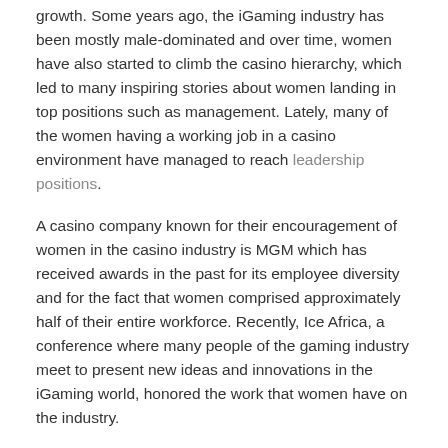growth. Some years ago, the iGaming industry has been mostly male-dominated and over time, women have also started to climb the casino hierarchy, which led to many inspiring stories about women landing in top positions such as management. Lately, many of the women having a working job in a casino environment have managed to reach leadership positions.
A casino company known for their encouragement of women in the casino industry is MGM which has received awards in the past for its employee diversity and for the fact that women comprised approximately half of their entire workforce. Recently, Ice Africa, a conference where many people of the gaming industry meet to present new ideas and innovations in the iGaming world, honored the work that women have on the industry.
Elmarie van Wyk
Elmarie van Wyk, a casino gaming manager, shared her views and inspiring story on the world of